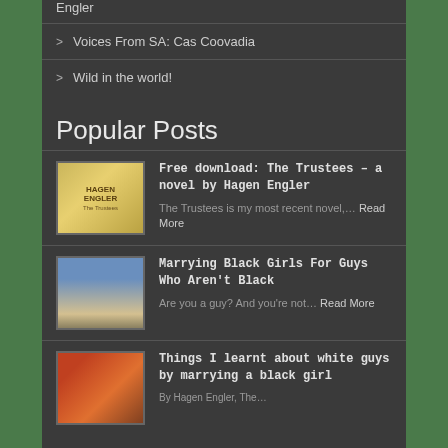Engler
Voices From SA: Cas Coovadia
Wild in the world!
Popular Posts
Free download: The Trustees – a novel by Hagen Engler
The Trustees is my most recent novel,... Read More
Marrying Black Girls For Guys Who Aren't Black
Are you a guy? And you're not... Read More
Things I learnt about white guys by marrying a black girl